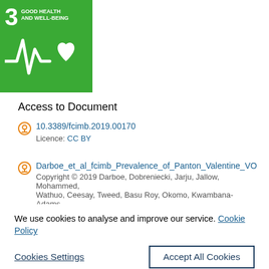[Figure (logo): UN SDG Goal 3 badge - Good Health and Well-Being, green background with number 3, heartbeat/heart icon in white]
Access to Document
10.3389/fcimb.2019.00170
Licence: CC BY
Darboe_et_al_fcimb_Prevalence_of_Panton_Valentine_VOR
Copyright © 2019 Darboe, Dobreniecki, Jarju, Jallow, Mohammed, Wathuo, Ceesay, Tweed, Basu Roy, Okomo, Kwambana-Adams
We use cookies to analyse and improve our service. Cookie Policy
Cookies Settings
Accept All Cookies